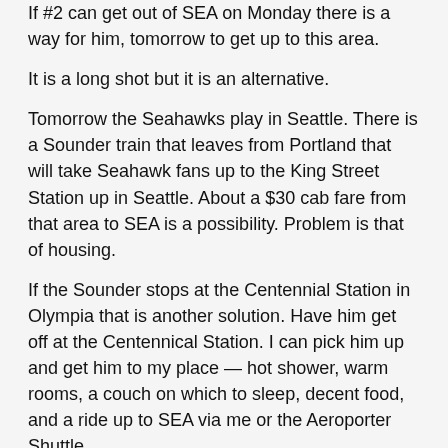If #2 can get out of SEA on Monday there is a way for him, tomorrow to get up to this area.
It is a long shot but it is an alternative.
Tomorrow the Seahawks play in Seattle. There is a Sounder train that leaves from Portland that will take Seahawk fans up to the King Street Station up in Seattle. About a $30 cab fare from that area to SEA is a possibility. Problem is that of housing.
If the Sounder stops at the Centennial Station in Olympia that is another solution. Have him get off at the Centennical Station. I can pick him up and get him to my place — hot shower, warm rooms, a couch on which to sleep, decent food, and a ride up to SEA via me or the Aeroporter Shuttle.
Of course, the trick is for him to be able to get a flight out of SEA.
Let me know what you both decide.